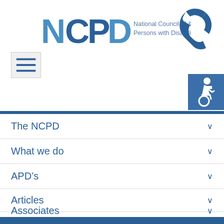[Figure (logo): NCPD logo with text 'National Council of & for Persons with Disabilities']
[Figure (illustration): Blue telephone/phone icon in top right]
[Figure (illustration): Hamburger menu button (three horizontal lines) on left]
[Figure (illustration): Wheelchair accessibility icon in blue square, top right]
The NCPD
What we do
APD's
Articles
Associates